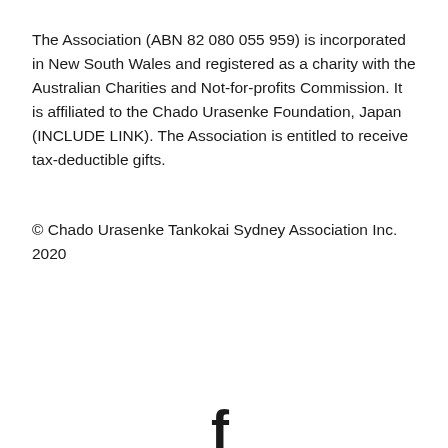The Association (ABN 82 080 055 959) is incorporated in New South Wales and registered as a charity with the Australian Charities and Not-for-profits Commission. It is affiliated to the Chado Urasenke Foundation, Japan (INCLUDE LINK). The Association is entitled to receive tax-deductible gifts.
© Chado Urasenke Tankokai Sydney Association Inc. 2020
[Figure (illustration): Facebook logo icon (lowercase f) in dark/black color, partially visible at bottom center of page]